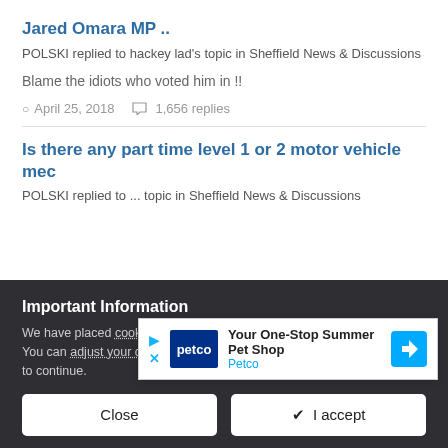Jared Omara MP ..
POLSKI replied to hackey lad's topic in Sheffield News & Discussions
Blame the idiots who voted him in !!
April 25, 2018   1,656 replies
Is there any part time level 1 or 2 motor vehicle mec...
POLSKI replied to ... topic in Sheffield News & Discussions
[Figure (other): Petco advertisement overlay: 'Your One-Stop Summer Pet Shop' with Petco logo and navigation arrow icon]
Important Information
We have placed cookies on your device to help make this website better. You can adjust your cookie settings, otherwise we'll assume you're okay to continue.
Close   ✔ I accept